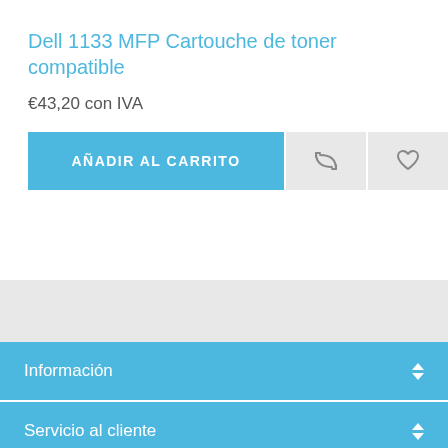Dell 1133 MFP Cartouche de toner compatible
€43,20 con IVA
[Figure (screenshot): Add to cart button row with 'AÑADIR AL CARRITO' blue button, a refresh/compare icon button, and a heart/wishlist icon button]
Información
Servicio al cliente